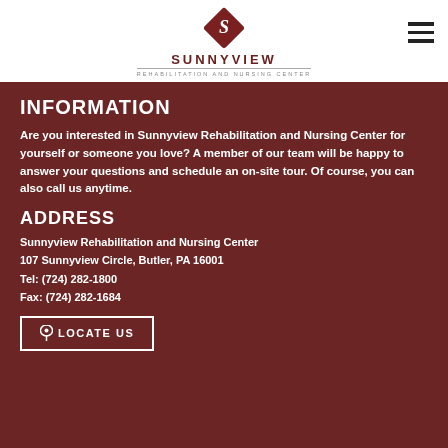[Figure (logo): Sunnyview Rehabilitation and Nursing Center logo with diamond shape and stylized S]
INFORMATION
Are you interested in Sunnyview Rehabilitation and Nursing Center for yourself or someone you love? A member of our team will be happy to answer your questions and schedule an on-site tour. Of course, you can also call us anytime.
ADDRESS
Sunnyview Rehabilitation and Nursing Center
107 Sunnyview Circle, Butler, PA 16001
Tel: (724) 282-1800
Fax: (724) 282-1684
LOCATE US